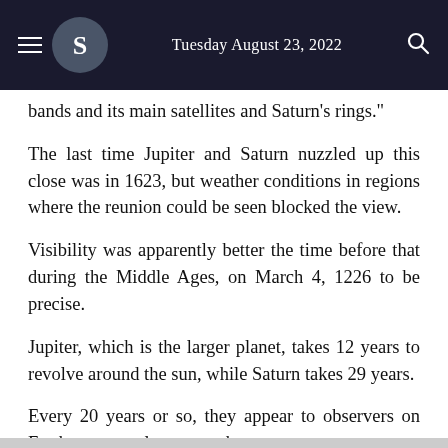Tuesday August 23, 2022
bands and its main satellites and Saturn's rings."
The last time Jupiter and Saturn nuzzled up this close was in 1623, but weather conditions in regions where the reunion could be seen blocked the view.
Visibility was apparently better the time before that during the Middle Ages, on March 4, 1226 to be precise.
Jupiter, which is the larger planet, takes 12 years to revolve around the sun, while Saturn takes 29 years.
Every 20 years or so, they appear to observers on Earth to come closer to each other.